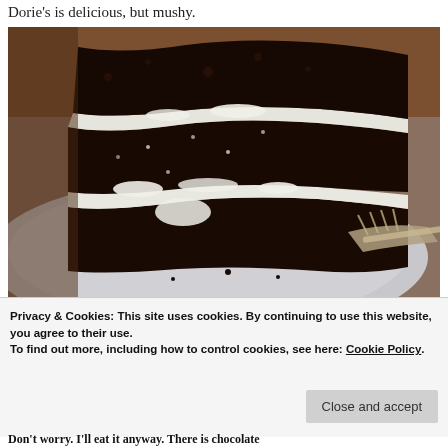Dorie's is delicious, but mushy.
[Figure (photo): A slice of chocolate layer cake on a white plate, with white cream filling between dark chocolate cake layers. A fork is visible on the right side of the plate, and crumbs are scattered around.]
Privacy & Cookies: This site uses cookies. By continuing to use this website, you agree to their use.
To find out more, including how to control cookies, see here: Cookie Policy
Don't worry.  I'll eat it anyway.  There is chocolate